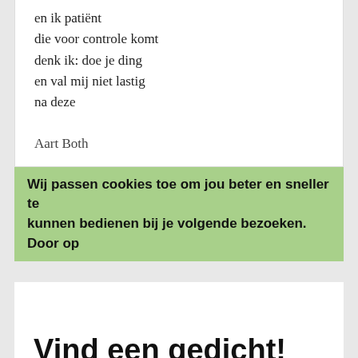en ik patiënt
die voor controle komt
denk ik: doe je ding
en val mij niet lastig
na deze
Aart Both
Wij passen cookies toe om jou beter en sneller te kunnen bedienen bij je volgende bezoeken. Door op
Vind een gedicht!